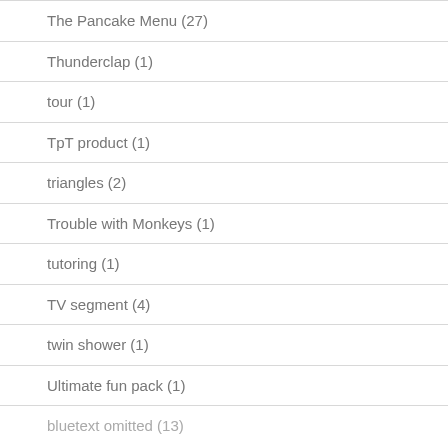The Pancake Menu (27)
Thunderclap (1)
tour (1)
TpT product (1)
triangles (2)
Trouble with Monkeys (1)
tutoring (1)
TV segment (4)
twin shower (1)
Ultimate fun pack (1)
bluetext omitted (13)